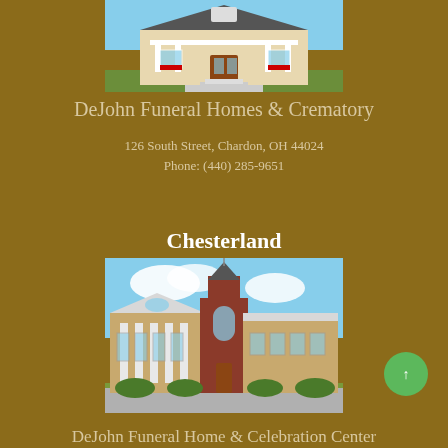[Figure (photo): Exterior photo of DeJohn Funeral Homes Chardon location - a white craftsman-style house with columns and front porch]
DeJohn Funeral Homes & Crematory
126 South Street, Chardon, OH 44024
Phone: (440) 285-9651
Chesterland
[Figure (photo): Exterior photo of DeJohn Funeral Home Chesterland location - modern building with stone facade, columns, and central tower]
DeJohn Funeral Home & Celebration Center